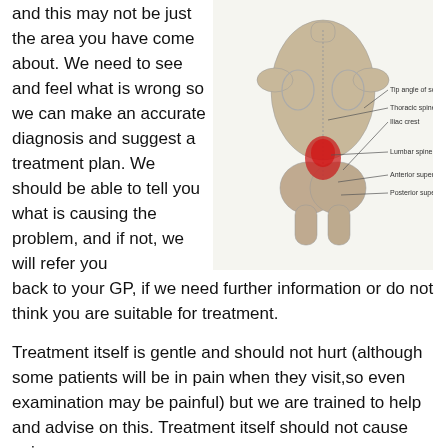and this may not be just the area you have come about. We need to see and feel what is wrong so we can make an accurate diagnosis and suggest a treatment plan. We should be able to tell you what is causing the problem, and if not, we will refer you back to your GP, if we need further information or do not think you are suitable for treatment.
[Figure (illustration): Anatomical illustration of a human torso from the back (posterior view), with a red highlighted area on the lower back/lumbar-sacral region. Labels point to anatomical structures including: 'Tip angle of scapula', 'Thoracic spine', 'Iliac crest', 'Lumbar spine', 'Anterior superior', and 'Posterior superior'.]
Treatment itself is gentle and should not hurt (although some patients will be in pain when they visit, so even examination may be painful) but we are trained to help and advise on this. Treatment itself should not cause pain.
We work with massage to reduce the muscle tone, to improve drainage,